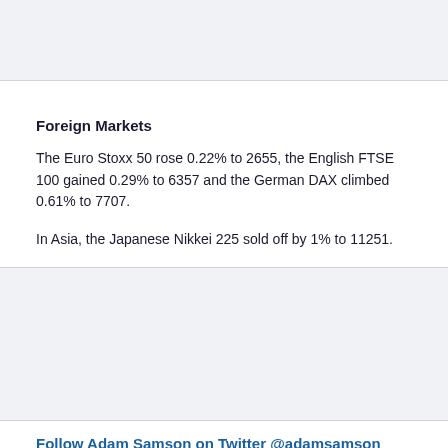Foreign Markets
The Euro Stoxx 50 rose 0.22% to 2655, the English FTSE 100 gained 0.29% to 6357 and the German DAX climbed 0.61% to 7707.
In Asia, the Japanese Nikkei 225 sold off by 1% to 11251.
Follow Adam Samson on Twitter @adamsamson